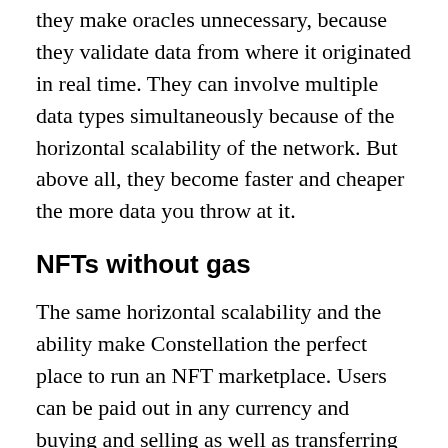they make oracles unnecessary, because they validate data from where it originated in real time. They can involve multiple data types simultaneously because of the horizontal scalability of the network. But above all, they become faster and cheaper the more data you throw at it.
NFTs without gas
The same horizontal scalability and the ability make Constellation the perfect place to run an NFT marketplace. Users can be paid out in any currency and buying and selling as well as transferring NFTs.
While this may not matter for Bored Apes and other abominations, it does matter when trade documents, government licenses, legal documents, ID papers, driving permits, public transport passes or airline